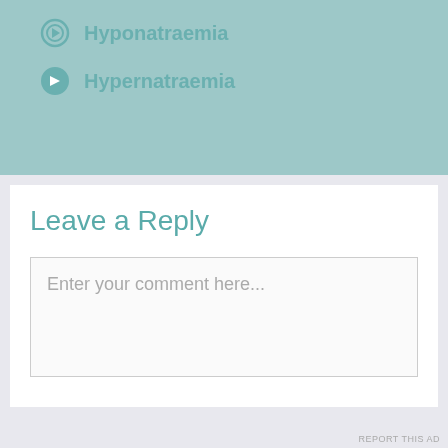Hyponatraemia
Hypernatraemia
Leave a Reply
Enter your comment here...
This site uses Akismet to reduce spam. Learn how your comment data is processed.
Advertisements